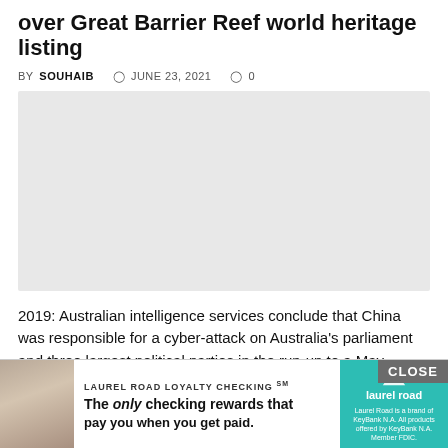over Great Barrier Reef world heritage listing
BY SOUHAIB  JUNE 23, 2021  0
[Figure (photo): Gray placeholder image area for article photo]
2019: Australian intelligence services conclude that China was responsible for a cyber-attack on Australia's parliament and three largest political parties in the run-up to a May election. April 2020:...
Queens... hotspot...
[Figure (photo): Advertisement banner: Laurel Road Loyalty Checking - The only checking rewards that pay you when you get paid. With CLOSE button and Laurel Road logo.]